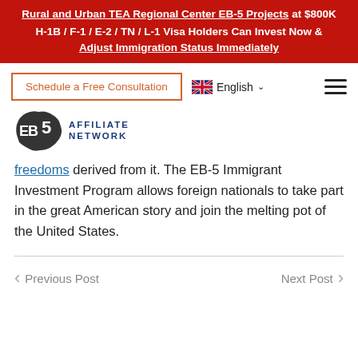Rural and Urban TEA Regional Center EB-5 Projects at $800K
H-1B / F-1 / E-2 / TN / L-1 Visa Holders Can Invest Now & Adjust Immigration Status Immediately
Schedule a Free Consultation
[Figure (logo): EB5 Affiliate Network logo with US map silhouette]
freedoms derived from it. The EB-5 Immigrant Investment Program allows foreign nationals to take part in the great American story and join the melting pot of the United States.
Previous Post    Next Post